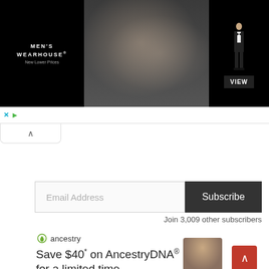[Figure (screenshot): Men's Wearhouse advertisement banner showing a couple in formalwear and a man in a tuxedo with VIEW button]
[Figure (screenshot): Email subscription form with Email Address input and Subscribe button, with text Join 3,009 other subscribers]
Join 3,009 other subscribers
[Figure (screenshot): Ancestry.com advertisement: Save $40* on AncestryDNA® for a limited time, with a person's photo]